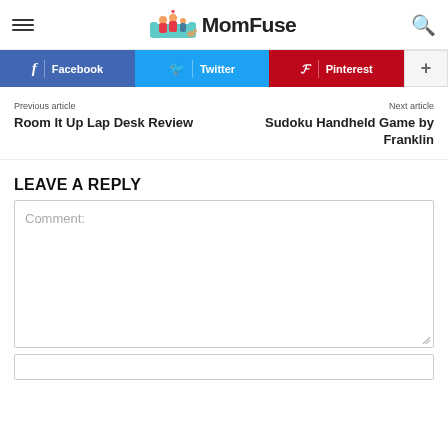MomFuse
Facebook | Twitter | Pinterest | +
Previous article
Room It Up Lap Desk Review
Next article
Sudoku Handheld Game by Franklin
LEAVE A REPLY
Comment: